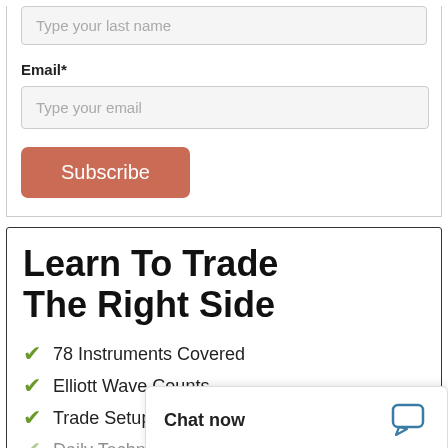Type your last name
Email*
Type your email
Subscribe
Learn To Trade The Right Side
78 Instruments Covered
Elliott Wave Counts
Trade Setups a…
Daily Technica…
Chat now